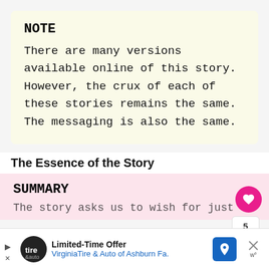NOTE
There are many versions available online of this story. However, the crux of each of these stories remains the same. The messaging is also the same.
The Essence of the Story
SUMMARY
The story asks us to wish for just
Limited-Time Offer VirginiaTire & Auto of Ashburn Fa.